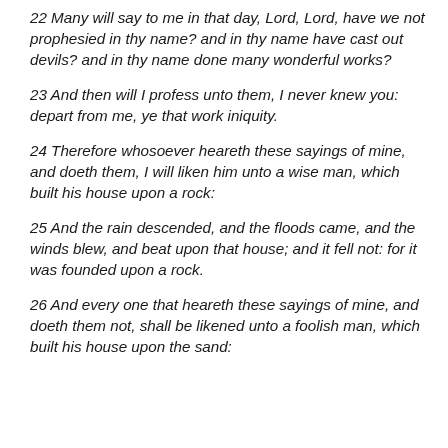22 Many will say to me in that day, Lord, Lord, have we not prophesied in thy name? and in thy name have cast out devils? and in thy name done many wonderful works?
23 And then will I profess unto them, I never knew you: depart from me, ye that work iniquity.
24 Therefore whosoever heareth these sayings of mine, and doeth them, I will liken him unto a wise man, which built his house upon a rock:
25 And the rain descended, and the floods came, and the winds blew, and beat upon that house; and it fell not: for it was founded upon a rock.
26 And every one that heareth these sayings of mine, and doeth them not, shall be likened unto a foolish man, which built his house upon the sand: